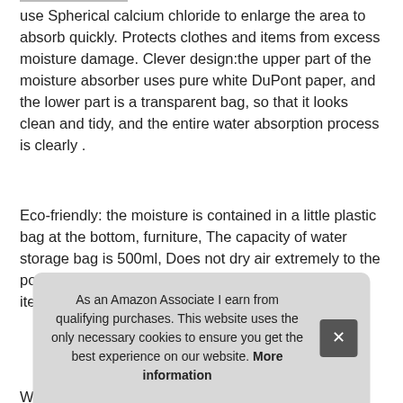use Spherical calcium chloride to enlarge the area to absorb quickly. Protects clothes and items from excess moisture damage. Clever design:the upper part of the moisture absorber uses pure white DuPont paper, and the lower part is a transparent bag, so that it looks clean and tidy, and the entire water absorption process is clearly .
Eco-friendly: the moisture is contained in a little plastic bag at the bottom, furniture, The capacity of water storage bag is 500ml, Does not dry air extremely to the point to cause damage to plants, or any household items.
More information #ad
Wid and bas enc
As an Amazon Associate I earn from qualifying purchases. This website uses the only necessary cookies to ensure you get the best experience on our website. More information